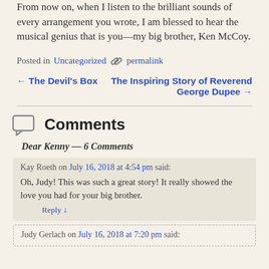From now on, when I listen to the brilliant sounds of every arrangement you wrote, I am blessed to hear the musical genius that is you—my big brother, Ken McCoy.
Posted in Uncategorized  permalink
← The Devil's Box    The Inspiring Story of Reverend George Dupee →
Comments
Dear Kenny — 6 Comments
Kay Roeth on July 16, 2018 at 4:54 pm said:
Oh, Judy! This was such a great story! It really showed the love you had for your big brother.
Reply ↓
Judy Gerlach on July 16, 2018 at 7:20 pm said: